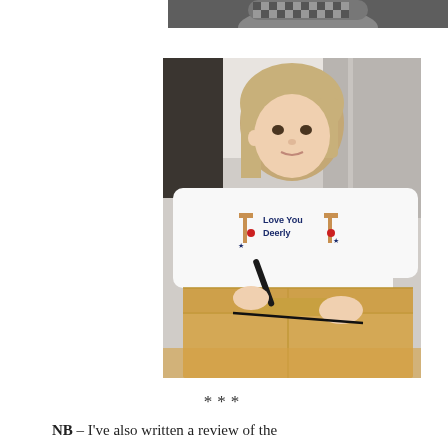[Figure (photo): Partial top photo showing a person in a patterned hat, cropped at the top edge of the page]
[Figure (photo): A young girl with blonde hair wearing a white long-sleeve shirt with 'Love You Deerly' text and reindeer graphics, leaning over a cardboard box and drawing a line on it with a black marker]
***
NB – I've also written a review of the